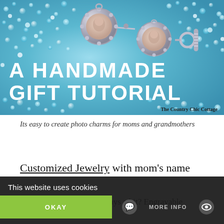[Figure (photo): Photo of blue and clear crystal beads scattered on a surface, with two round silver photo charm pendants showing faces and a toggle clasp, overlaid with white text 'A HANDMADE GIFT TUTORIAL' and attribution 'The Country Chic Cottage']
Its easy to create photo charms for moms and grandmothers
Customized Jewelry with mom's name
Jewelry as a gift that's always a hit?  Engravable